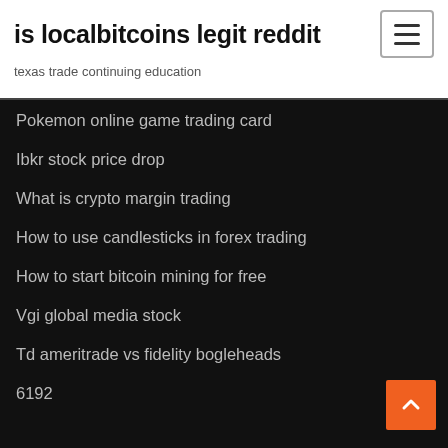is localbitcoins legit reddit
texas trade continuing education
Pokemon online game trading card
Ibkr stock price drop
What is crypto margin trading
How to use candlesticks in forex trading
How to start bitcoin mining for free
Vgi global media stock
Td ameritrade vs fidelity bogleheads
6192